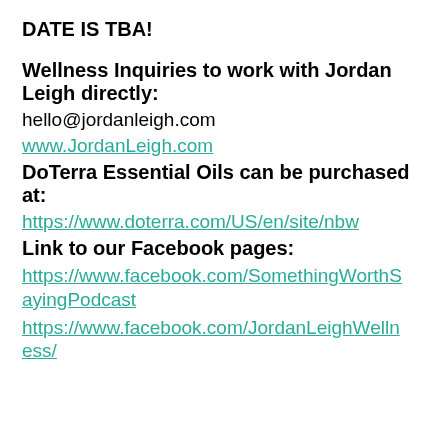DATE IS TBA!
Wellness Inquiries to work with Jordan Leigh directly:
hello@jordanleigh.com
www.JordanLeigh.com
DoTerra Essential Oils can be purchased at:
https://www.doterra.com/US/en/site/nbw
Link to our Facebook pages:
https://www.facebook.com/SomethingWorthSayingPodcast
https://www.facebook.com/JordanLeighWellness/